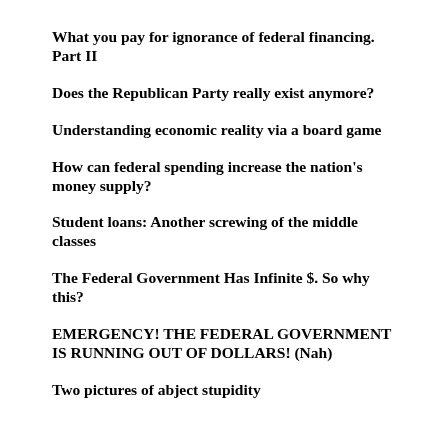What you pay for ignorance of federal financing. Part II
Does the Republican Party really exist anymore?
Understanding economic reality via a board game
How can federal spending increase the nation's money supply?
Student loans: Another screwing of the middle classes
The Federal Government Has Infinite $. So why this?
EMERGENCY! THE FEDERAL GOVERNMENT IS RUNNING OUT OF DOLLARS! (Nah)
Two pictures of abject stupidity